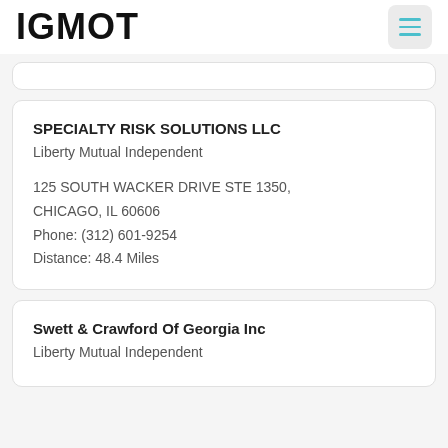IGMOT
SPECIALTY RISK SOLUTIONS LLC
Liberty Mutual Independent
125 SOUTH WACKER DRIVE STE 1350, CHICAGO, IL 60606
Phone: (312) 601-9254
Distance: 48.4 Miles
Swett & Crawford Of Georgia Inc
Liberty Mutual Independent